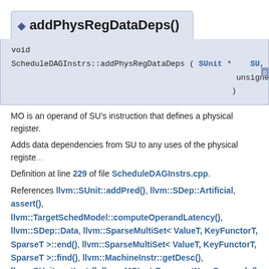addPhysRegDataDeps()
void
ScheduleDAGInstrs::addPhysRegDataDeps ( SUnit * SU,
 unsigned OperIdx
 )
MO is an operand of SU's instruction that defines a physical register.
Adds data dependencies from SU to any uses of the physical registe...
Definition at line 229 of file ScheduleDAGInstrs.cpp.
References llvm::SUnit::addPred(), llvm::SDep::Artificial, assert(), llvm::TargetSchedModel::computeOperandLatency(), llvm::SDep::Data, llvm::SparseMultiSet< ValueT, KeyFunctorT, SparseT >::end(), llvm::SparseMultiSet< ValueT, KeyFunctorT, SparseT >::find(), llvm::MachineInstr::getDesc(), llvm::SUnit::getInstr(), llvm::MCInstrDesc::getNumOperands(), llvm::MachineInstr::getOperand(), llvm::MachineOperand::getRe...